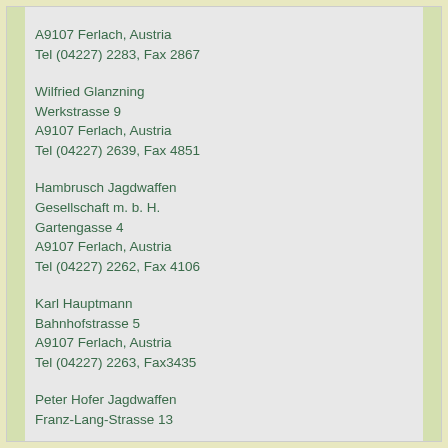A9107 Ferlach, Austria
Tel (04227) 2283, Fax 2867
Wilfried Glanzning
Werkstrasse 9
A9107 Ferlach, Austria
Tel (04227) 2639, Fax 4851
Hambrusch Jagdwaffen
Gesellschaft m. b. H.
Gartengasse 4
A9107 Ferlach, Austria
Tel (04227) 2262, Fax 4106
Karl Hauptmann
Bahnhofstrasse 5
A9107 Ferlach, Austria
Tel (04227) 2263, Fax3435
Peter Hofer Jagdwaffen
Franz-Lang-Strasse 13